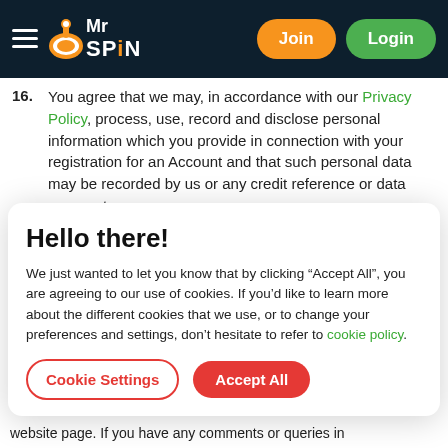Mr SPiN — Join | Login
16. You agree that we may, in accordance with our Privacy Policy, process, use, record and disclose personal information which you provide in connection with your registration for an Account and that such personal data may be recorded by us or any credit reference or data aggregator agency.
17. You will not be able to deposit, play (including the use of bonuses or free to play games) or withdraw any winnings from your Account until our identity verification process
Hello there!
We just wanted to let you know that by clicking “Accept All”, you are agreeing to our use of cookies. If you’d like to learn more about the different cookies that we use, or to change your preferences and settings, don’t hesitate to refer to cookie policy.
website page. If you have any comments or queries in